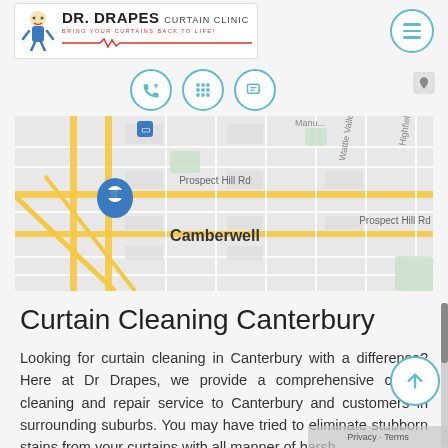[Figure (logo): Dr. Drapes Curtain Clinic logo with cartoon doctor character and ECG line, tagline: BRING YOUR CURTAINS BACK TO LIFE!]
[Figure (screenshot): Navigation icons: phone, keypad/SMS, edit/contact, hamburger menu button]
[Figure (map): Google Maps view of Camberwell area showing Prospect Hill Rd, Wattle Valley Rd, Highfield Rd, and surrounding streets]
Curtain Cleaning Canterbury
Looking for curtain cleaning in Canterbury with a difference? Here at Dr Drapes, we provide a comprehensive curtain cleaning and repair service to Canterbury and customers in surrounding suburbs. You may have tried to eliminate stubborn stains from your curtains with all manner of harsh